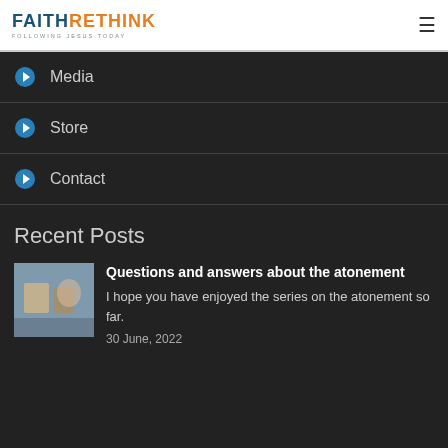FAITHRETHINK FOLLOWING JESUS TODAY
Media
Store
Contact
Recent Posts
Questions and answers about the atonement
I hope you have enjoyed the series on the atonement so far.
30 June, 2022